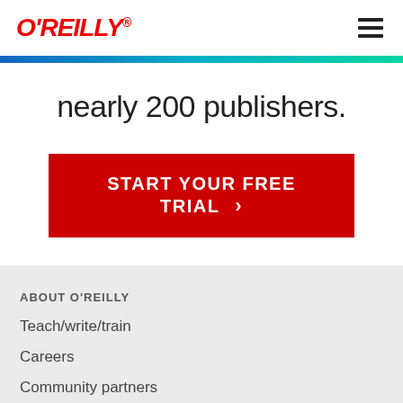O'REILLY®
nearly 200 publishers.
START YOUR FREE TRIAL >
ABOUT O'REILLY
Teach/write/train
Careers
Community partners
Affiliate program